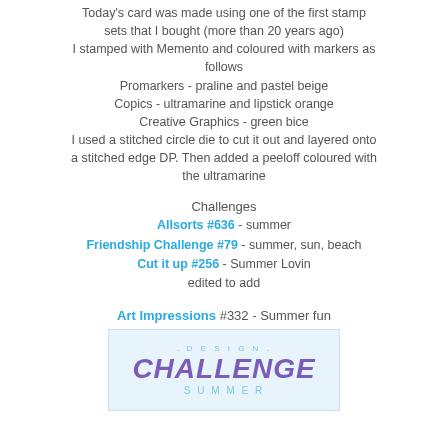Today's card was made using one of the first stamp sets that I bought (more than 20 years ago)
I stamped with Memento and coloured with markers as follows
Promarkers - praline and pastel beige
Copics - ultramarine and lipstick orange
Creative Graphics - green bice
I used a stitched circle die to cut it out and layered onto a stitched edge DP. Then added a peeloff coloured with the ultramarine
Challenges
Allsorts #636 - summer
Friendship Challenge #79 - summer, sun, beach
Cut it up #256 - Summer Lovin
edited to add
Art Impressions #332 - Summer fun
[Figure (logo): Design Challenge Summer Fun badge with purple CHALLENGE text and teal design elements]